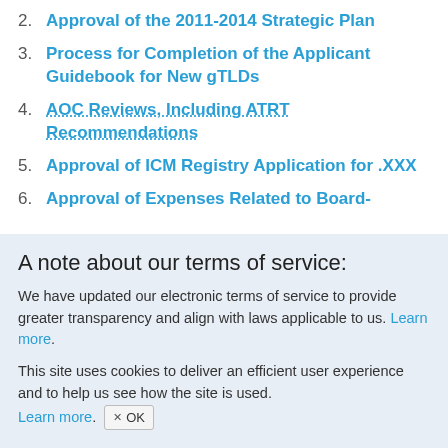2. Approval of the 2011-2014 Strategic Plan
3. Process for Completion of the Applicant Guidebook for New gTLDs
4. AOC Reviews, Including ATRT Recommendations
5. Approval of ICM Registry Application for .XXX
6. Approval of Expenses Related to Board-
A note about our terms of service:
We have updated our electronic terms of service to provide greater transparency and align with laws applicable to us. Learn more.
This site uses cookies to deliver an efficient user experience and to help us see how the site is used. Learn more. OK